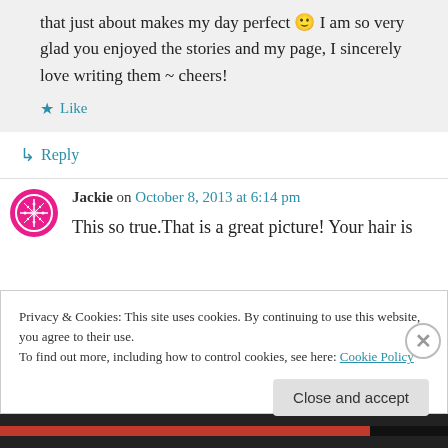that just about makes my day perfect 🙂 I am so very glad you enjoyed the stories and my page, I sincerely love writing them ~ cheers!
★ Like
↳ Reply
Jackie on October 8, 2013 at 6:14 pm
This so true.That is a great picture! Your hair is
Privacy & Cookies: This site uses cookies. By continuing to use this website, you agree to their use.
To find out more, including how to control cookies, see here: Cookie Policy
Close and accept